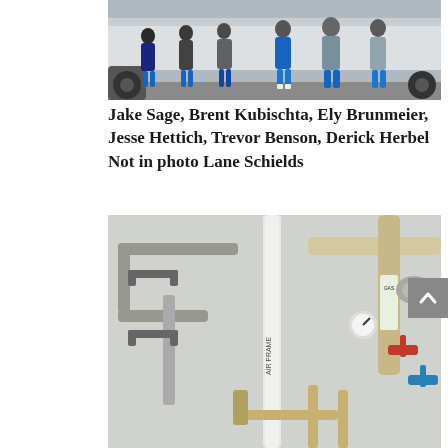[Figure (photo): Group photo of several men standing in a row outdoors in front of a white truck/trailer, wearing casual clothing (jeans, hoodies, jackets). Taken in a parking lot or industrial area.]
Jake Sage, Brent Kubischta, Ely Brunmeier, Jesse Hettich, Trevor Benson, Derick Herbel Not in photo Lane Schields
[Figure (photo): Photo of an industrial or mechanical room showing various pipes, tubes, valves, and fittings mounted on a wall. Pipes include grey conduit and white PVC. Visible components include valves with red and blue handles, pressure gauges, and labeled pipe sections.]